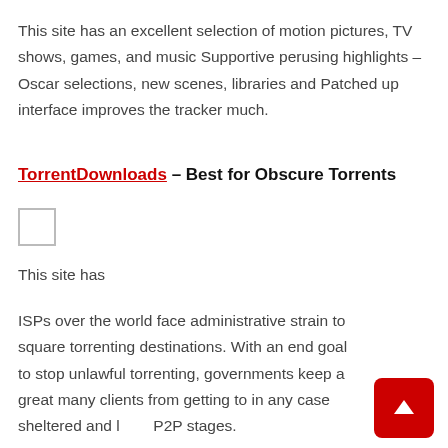This site has an excellent selection of motion pictures, TV shows, games, and music Supportive perusing highlights – Oscar selections, new scenes, libraries and Patched up interface improves the tracker much.
TorrentDownloads – Best for Obscure Torrents
[Figure (other): Small empty checkbox or image placeholder square]
This site has
ISPs over the world face administrative strain to square torrenting destinations. With an end goal to stop unlawful torrenting, governments keep a great many clients from getting to in any case sheltered and legal P2P stages.